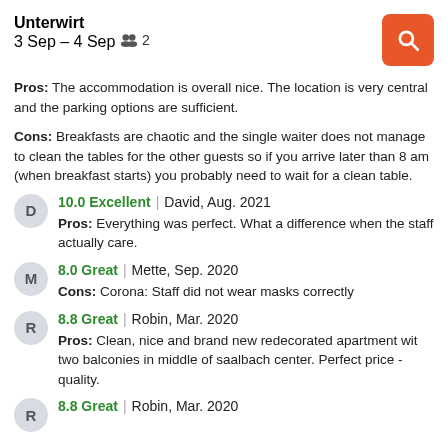Unterwirt
3 Sep – 4 Sep   2
Pros: The accommodation is overall nice. The location is very central and the parking options are sufficient.
Cons: Breakfasts are chaotic and the single waiter does not manage to clean the tables for the other guests so if you arrive later than 8 am (when breakfast starts) you probably need to wait for a clean table.
10.0 Excellent | David, Aug. 2021
Pros: Everything was perfect. What a difference when the staff actually care.
8.0 Great | Mette, Sep. 2020
Cons: Corona: Staff did not wear masks correctly
8.8 Great | Robin, Mar. 2020
Pros: Clean, nice and brand new redecorated apartment wit two balconies in middle of saalbach center. Perfect price - quality.
8.8 Great | Robin, Mar. 2020